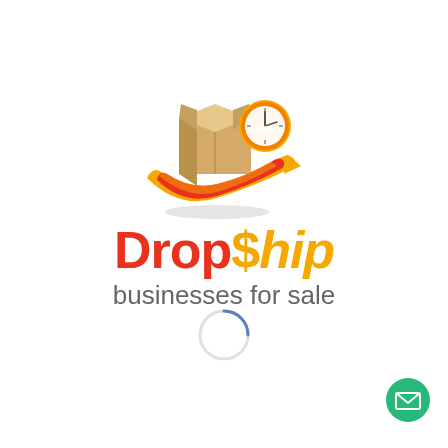[Figure (logo): Dropship Businesses for Sale logo: a cardboard box with an orange arrow swoosh beneath it and a circular DSBFS clock badge in the top right]
Drop$hip businesses for sale
[Figure (other): Circular loading spinner, partial arc in blue/grey on white background]
[Figure (other): Green circular email/envelope button in bottom-right corner]